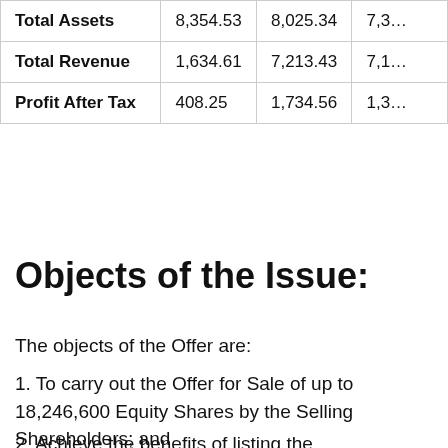|  | Col1 | Col2 | Col3 |
| --- | --- | --- | --- |
| Total Assets | 8,354.53 | 8,025.34 | 7,3… |
| Total Revenue | 1,634.61 | 7,213.43 | 7,1… |
| Profit After Tax | 408.25 | 1,734.56 | 1,3… |
Objects of the Issue:
The objects of the Offer are:
1. To carry out the Offer for Sale of up to 18,246,600 Equity Shares by the Selling Shareholders; and
2. Achieve the benefits of listing the